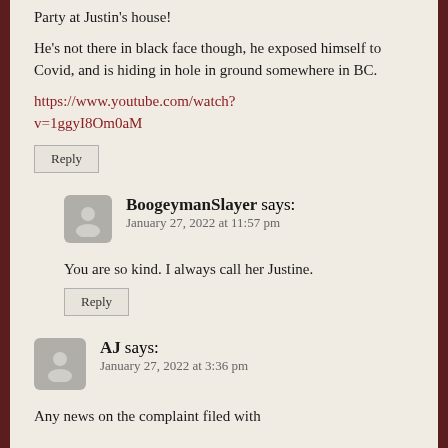Party at Justin's house!

He's not there in black face though, he exposed himself to Covid, and is hiding in hole in ground somewhere in BC.

https://www.youtube.com/watch?v=1ggyI8Om0aM

Reply
BoogeymanSlayer says:
January 27, 2022 at 11:57 pm

You are so kind. I always call her Justine.

Reply
AJ says:
January 27, 2022 at 3:36 pm

Any news on the complaint filed with